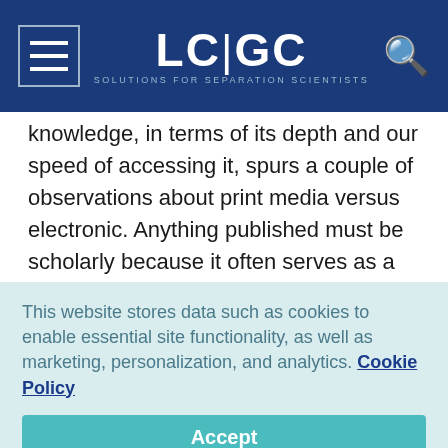LC|GC — SOLUTIONS FOR SEPARATION SCIENTISTS
knowledge, in terms of its depth and our speed of accessing it, spurs a couple of observations about print media versus electronic. Anything published must be scholarly because it often serves as a primary resource for certain facts, equations and other things we can't, or won't, remember. Paradoxically, almost as soon as we commit words to describing or explaining a fast-developing area of technology, their value diminishes as new insights form. And though the
This website stores data such as cookies to enable essential site functionality, as well as marketing, personalization, and analytics. Cookie Policy
Accept
Deny